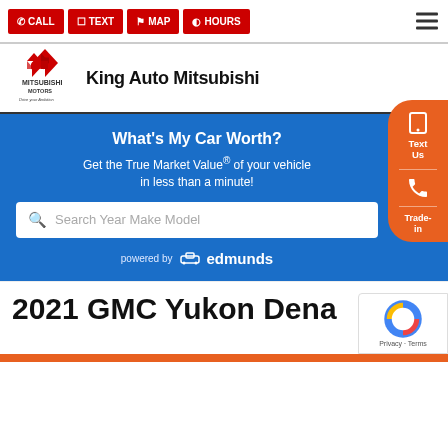CALL  TEXT  MAP  HOURS
[Figure (logo): Mitsubishi Motors logo with diamond emblem and tagline 'Drive your Ambition']
King Auto Mitsubishi
What's My Car Worth?
Get the True Market Value® of your vehicle in less than a minute!
Search Year Make Model
powered by edmunds
2021 GMC Yukon Dena